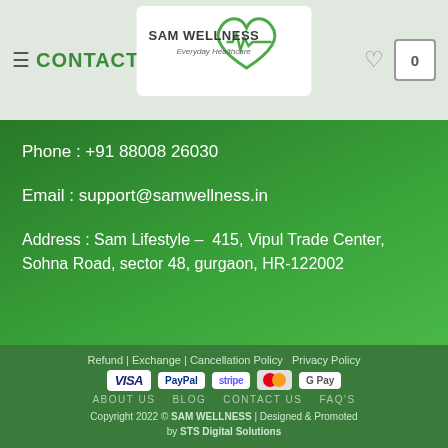SAM WELLNESS - Everyday Healthcare | CONTACT US
Phone : +91 88008 26030
Email : support@samwellness.in
Address : Sam Lifestyle - 415, Vipul Trade Center, Sohna Road, sector 48, gurgaon, HR-122002
Refund | Exchange | Cancellation Policy  Privacy Policy
VISA  PayPal  stripe  MasterCard  G Pay
ABOUT US   BLOG   CONTACT US   FAQ'S
Copyright 2022 © SAM WELLNESS | Designed & Promoted by STS Digital Solutions